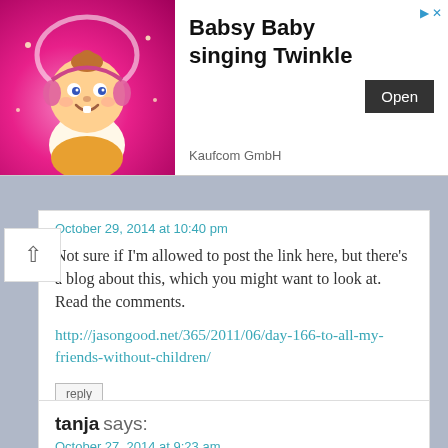[Figure (illustration): Advertisement banner for 'Babsy Baby singing Twinkle' by Kaufcom GmbH with a cartoon baby image and an Open button]
October 29, 2014 at 10:40 pm
Not sure if I'm allowed to post the link here, but there's a blog about this, which you might want to look at. Read the comments.
http://jasongood.net/365/2011/06/day-166-to-all-my-friends-without-children/
reply
tanja says:
October 27, 2014 at 9:23 am
Again I was just reminded of another incident. When I had my first son. My old college friend who moved far away, came to visit. She stayed with her mom that was still in the same city at the time. So, she came, did not